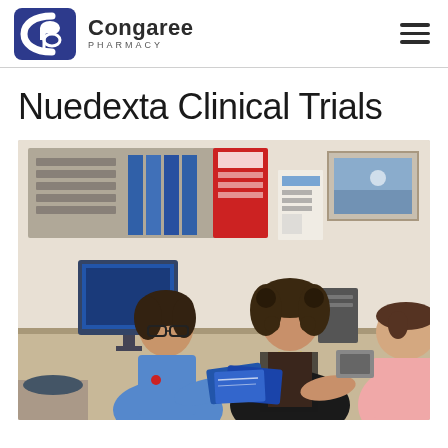Congaree Pharmacy
Nuedexta Clinical Trials
[Figure (photo): Three people sitting at a desk in a pharmacy or clinical office setting. A woman in a blue shirt wearing glasses is on the left, a woman with curly hair in a black blazer with a yellow lanyard is in the center, and a man in a pink shirt is seen from behind on the right. They appear to be reviewing blue brochures/pamphlets together. Behind them are shelves with filing bins, a computer monitor, and a framed picture on the wall.]